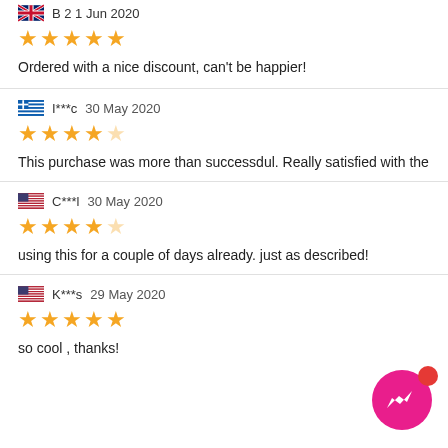Ordered with a nice discount, can't be happier!
I***c  30 May 2020
★★★★☆
This purchase was more than successdul. Really satisfied with the
C***l  30 May 2020
★★★★☆
using this for a couple of days already. just as described!
K***s  29 May 2020
★★★★★
so cool , thanks!